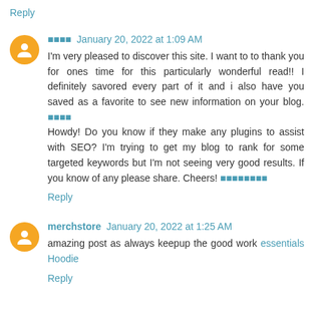Reply
□□□□  January 20, 2022 at 1:09 AM
I'm very pleased to discover this site. I want to to thank you for ones time for this particularly wonderful read!! I definitely savored every part of it and i also have you saved as a favorite to see new information on your blog. □□□□ Howdy! Do you know if they make any plugins to assist with SEO? I'm trying to get my blog to rank for some targeted keywords but I'm not seeing very good results. If you know of any please share. Cheers! □□□□□□□□
Reply
merchstore  January 20, 2022 at 1:25 AM
amazing post as always keepup the good work essentials Hoodie
Reply